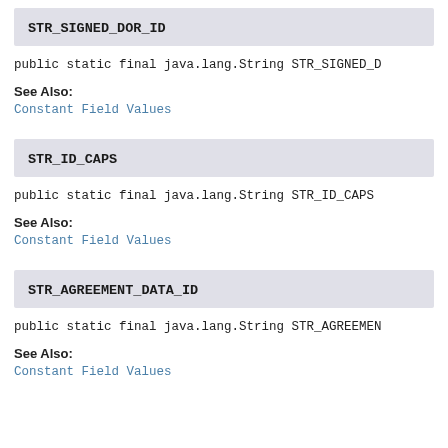STR_SIGNED_DOR_ID
public static final java.lang.String STR_SIGNED_D
See Also:
Constant Field Values
STR_ID_CAPS
public static final java.lang.String STR_ID_CAPS
See Also:
Constant Field Values
STR_AGREEMENT_DATA_ID
public static final java.lang.String STR_AGREEMEN
See Also:
Constant Field Values